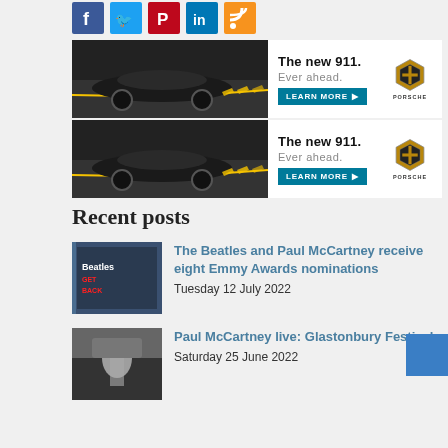[Figure (illustration): Social media icon buttons: Facebook (blue), Twitter (light blue), Pinterest/red, LinkedIn (dark blue), RSS/orange]
[Figure (photo): Porsche 911 advertisement banner (repeated twice): car racing on road, text 'The new 911. Ever ahead. LEARN MORE', Porsche logo]
Recent posts
[Figure (photo): Thumbnail of Beatles Get Back documentary cover]
The Beatles and Paul McCartney receive eight Emmy Awards nominations
Tuesday 12 July 2022
[Figure (photo): Black and white photo of Paul McCartney performing at Glastonbury Festival]
Paul McCartney live: Glastonbury Festival
Saturday 25 June 2022